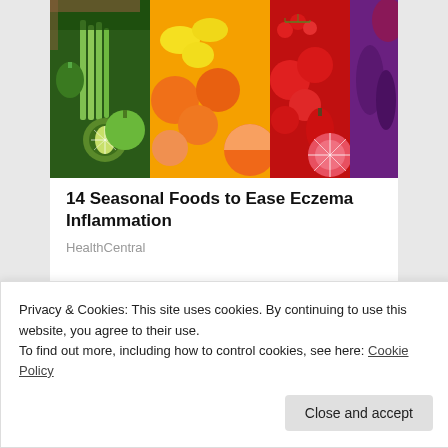[Figure (photo): Colorful array of fresh fruits and vegetables arranged in a rainbow pattern — green vegetables on the left (celery, kiwi, peppers), yellow/orange citrus and fruits in the center, red tomatoes and peppers, and purple eggplant on the right.]
14 Seasonal Foods to Ease Eczema Inflammation
HealthCentral
Privacy & Cookies: This site uses cookies. By continuing to use this website, you agree to their use.
To find out more, including how to control cookies, see here: Cookie Policy
Close and accept